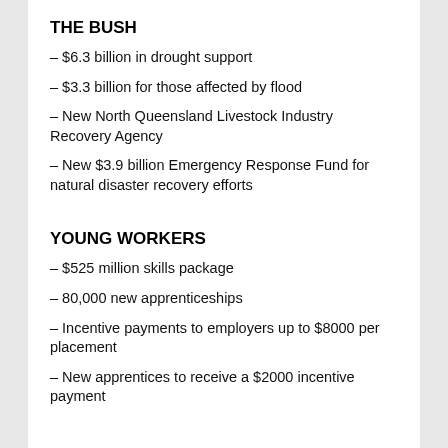THE BUSH
– $6.3 billion in drought support
– $3.3 billion for those affected by flood
– New North Queensland Livestock Industry Recovery Agency
– New $3.9 billion Emergency Response Fund for natural disaster recovery efforts
YOUNG WORKERS
– $525 million skills package
– 80,000 new apprenticeships
– Incentive payments to employers up to $8000 per placement
– New apprentices to receive a $2000 incentive payment